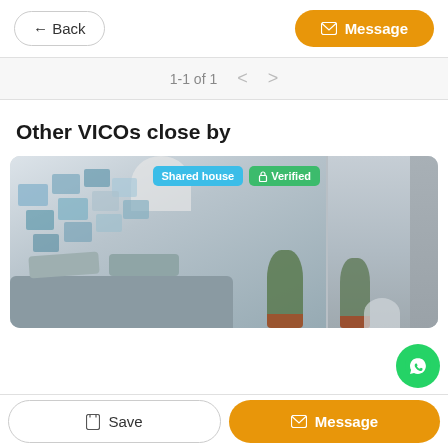← Back | Message
1-1 of 1
Other VICOs close by
[Figure (photo): Interior photo of a shared house living room with sofa, decorative pillows, a plant, and photos on the wall. Two badges overlaid: 'Shared house' in blue and '🔒 Verified' in green. A second partial interior photo is visible on the right.]
Save | Message